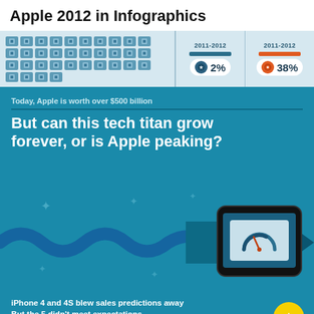Apple 2012 in Infographics
[Figure (infographic): Top strip showing a grid of iPhone icons on the left, and two stat columns on the right showing 2011-2012 data: 2% and 38%]
Today, Apple is worth over $500 billion
But can this tech titan grow forever, or is Apple peaking?
[Figure (illustration): Illustration of a smartphone on a rocket/arrow shape with wave decoration and sparkle stars on a teal blue background]
iPhone 4 and 4S blew sales predictions away
But the 5 didn't meet expectations
iPhone 4:  iPhone 4S:  iPhone 5: